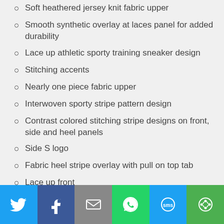Soft heathered jersey knit fabric upper
Smooth synthetic overlay at laces panel for added durability
Lace up athletic sporty training sneaker design
Stitching accents
Nearly one piece fabric upper
Interwoven sporty stripe pattern design
Contrast colored stitching stripe designs on front, side and heel panels
Side S logo
Fabric heel stripe overlay with pull on top tab
Lace up front
Padded collar and tongue
[Figure (infographic): Social sharing footer bar with icons for Twitter, Facebook, Email, WhatsApp, SMS, and Share]